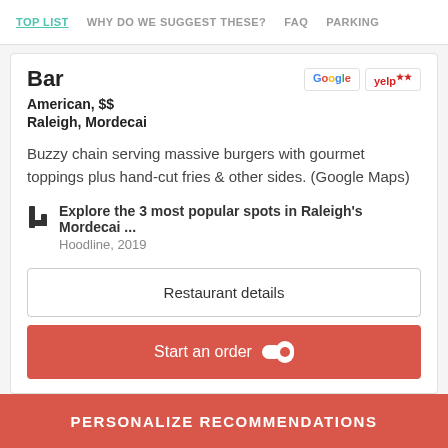TOP LIST  WHY DO WE SUGGEST THESE?  FAQ  PARKING
Bar
American, $$
Raleigh, Mordecai
Buzzy chain serving massive burgers with gourmet toppings plus hand-cut fries & other sides. (Google Maps)
Explore the 3 most popular spots in Raleigh's Mordecai ... Hoodline, 2019
Restaurant details
Start an order
PERSONALIZE RECOMMENDATIONS